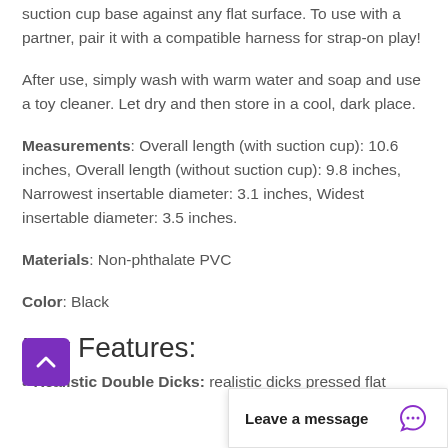suction cup base against any flat surface. To use with a partner, pair it with a compatible harness for strap-on play!
After use, simply wash with warm water and soap and use a toy cleaner. Let dry and then store in a cool, dark place.
Measurements: Overall length (with suction cup): 10.6 inches, Overall length (without suction cup): 9.8 inches, Narrowest insertable diameter: 3.1 inches, Widest insertable diameter: 3.5 inches.
Materials: Non-phthalate PVC
Color: Black
Key Features:
Realistic Double Dicks: realistic dicks pressed flat